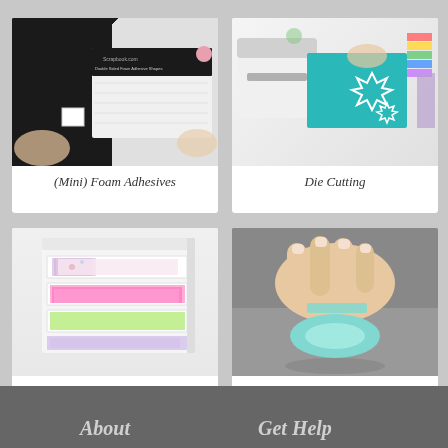[Figure (photo): Hands holding a package of scrapbook.com Double Sided Foam Adhesive Shapes]
(Mini) Foam Adhesives
[Figure (photo): Hands using a die cutting machine with teal mat and colorful paper, flower die cut shapes visible]
Die Cutting
[Figure (photo): White paper organizer/drawer unit filled with colorful craft papers in pink, green, purple and patterned]
Craft Room Basics
[Figure (photo): Fingers holding and pulling a roll of mint/teal repositionable tape on a gray surface]
Repositionable Mint Tape
Privacy Policy   About   Get Help